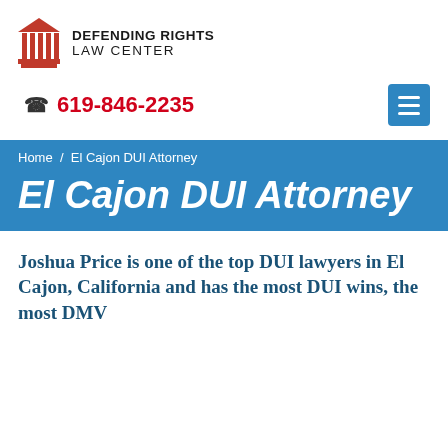[Figure (logo): Defending Rights Law Center logo with red column icon and firm name]
619-846-2235
Home / El Cajon DUI Attorney
El Cajon DUI Attorney
Joshua Price is one of the top DUI lawyers in El Cajon, California and has the most DUI wins, the most DMV wins, and the most...